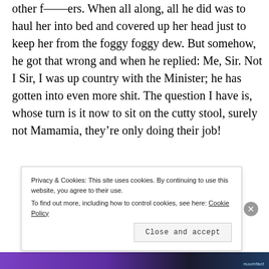other f—ers. When all along, all he did was to haul her into bed and covered up her head just to keep her from the foggy foggy dew. But somehow, he got that wrong and when he replied: Me, Sir. Not I Sir, I was up country with the Minister; he has gotten into even more shit. The question I have is, whose turn is it now to sit on the cutty stool, surely not Mamamia, they're only doing their job!
Privacy & Cookies: This site uses cookies. By continuing to use this website, you agree to their use. To find out more, including how to control cookies, see here: Cookie Policy
Close and accept